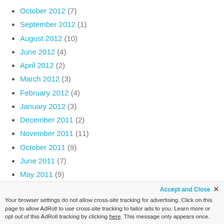October 2012 (7)
September 2012 (1)
August 2012 (10)
June 2012 (4)
April 2012 (2)
March 2012 (3)
February 2012 (4)
January 2012 (3)
December 2011 (2)
November 2011 (11)
October 2011 (9)
June 2011 (7)
May 2011 (9)
April 2011 (7)
March 2011 (15)
February 2011 (16)
January 2011 (10)
Your browser settings do not allow cross-site tracking for advertising. Click on this page to allow AdRoll to use cross-site tracking to tailor ads to you. Learn more or opt out of this AdRoll tracking by clicking here. This message only appears once.